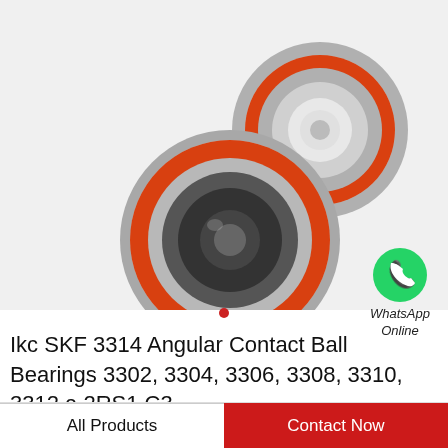[Figure (photo): Two angular contact ball bearings with red/orange seals and silver metal housings, shown at an angle stacked slightly offset against a light grey background.]
[Figure (logo): WhatsApp green circle icon with white phone handset inside, with text 'WhatsApp Online' below in italic.]
Ikc SKF 3314 Angular Contact Ball Bearings 3302, 3304, 3306, 3308, 3310, 3312 a 2RS1 C3
All Products
Contact Now